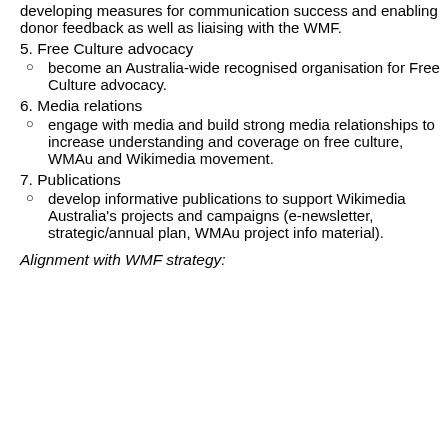developing measures for communication success and enabling donor feedback as well as liaising with the WMF.
5. Free Culture advocacy
become an Australia-wide recognised organisation for Free Culture advocacy.
6. Media relations
engage with media and build strong media relationships to increase understanding and coverage on free culture, WMAu and Wikimedia movement.
7. Publications
develop informative publications to support Wikimedia Australia's projects and campaigns (e-newsletter, strategic/annual plan, WMAu project info material).
Alignment with WMF strategy: